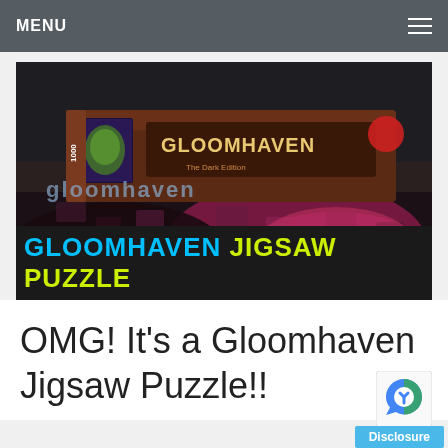MENU
[Figure (photo): Photo of a Gloomhaven 1000-piece jigsaw puzzle box on a table, with puzzle pieces partially assembled below it showing the Gloomhaven artwork. A red/black banner at the bottom reads GLOOMHAVEN JIGSAW PUZZLE in cyan and yellow text.]
OMG! It’s a Gloomhaven Jigsaw Puzzle!!